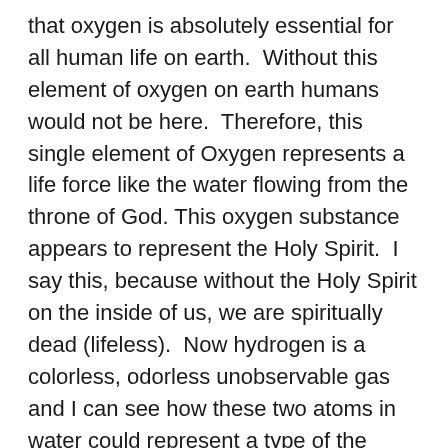that oxygen is absolutely essential for all human life on earth.  Without this element of oxygen on earth humans would not be here.  Therefore, this single element of Oxygen represents a life force like the water flowing from the throne of God. This oxygen substance appears to represent the Holy Spirit.  I say this, because without the Holy Spirit on the inside of us, we are spiritually dead (lifeless).  Now hydrogen is a colorless, odorless unobservable gas and I can see how these two atoms in water could represent a type of the Father and the Son working